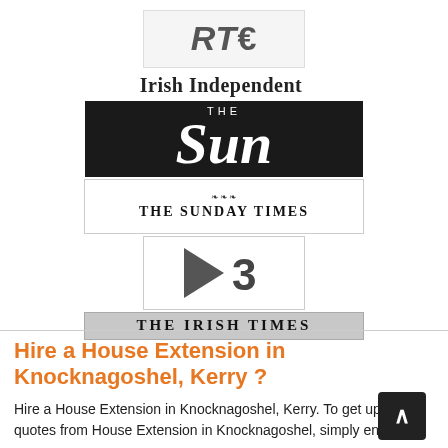[Figure (logo): RTÉ logo in gray on light gray bordered box]
[Figure (logo): Irish Independent logo with harp icon]
[Figure (logo): The Sun newspaper logo, white text on black background]
[Figure (logo): The Sunday Times newspaper logo with crest]
[Figure (logo): E3 channel logo, dark E with 3]
[Figure (logo): The Irish Times logo on gray background]
Hire a House Extension in Knocknagoshel, Kerry ?
Hire a House Extension in Knocknagoshel, Kerry. To get up to 5 quotes from House Extension in Knocknagoshel, simply enter